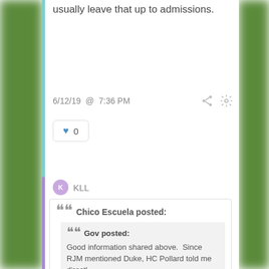usually leave that up to admissions.
6/12/19 @ 7:36 PM
0
KLL
Chico Escuela posted:
Gov posted:
Good information shared above.  Since RJM mentioned Duke, HC Pollard told me directl